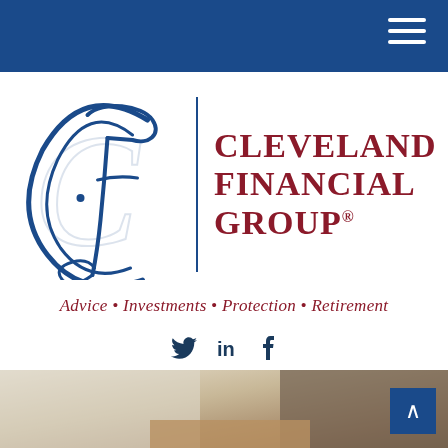Navigation bar with hamburger menu
[Figure (logo): Cleveland Financial Group logo: decorative CF monogram in blue on the left, vertical blue dividing line, and company name 'Cleveland Financial Group®' in dark red serif font on the right]
Advice • Investments • Protection • Retirement
Twitter, LinkedIn, Facebook social icons
(440) 617-6676
[Figure (photo): Partial photo at bottom of page showing a business/office scene, with a blue scroll-to-top button in the lower right corner]